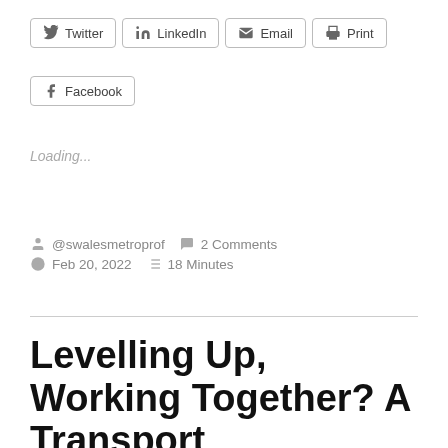[Figure (other): Social share buttons row 1: Twitter, LinkedIn, Email, Print]
[Figure (other): Social share button: Facebook]
Loading...
@swalesmetroprof  2 Comments  Feb 20, 2022  18 Minutes
Levelling Up, Working Together? A Transport Enhancement P...